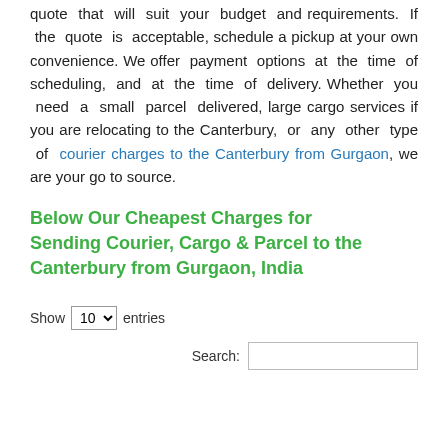quote that will suit your budget and requirements. If the quote is acceptable, schedule a pickup at your own convenience. We offer payment options at the time of scheduling, and at the time of delivery. Whether you need a small parcel delivered, large cargo services if you are relocating to the Canterbury, or any other type of courier charges to the Canterbury from Gurgaon, we are your go to source.
Below Our Cheapest Charges for Sending Courier, Cargo & Parcel to the Canterbury from Gurgaon, India
Show 10 entries
Search: